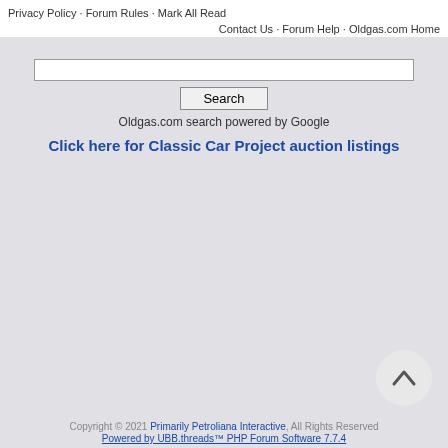Privacy Policy · Forum Rules · Mark All Read
Contact Us · Forum Help · Oldgas.com Home
Oldgas.com search powered by Google
Click here for Classic Car Project auction listings
Copyright © 2021 Primarily Petroliana Interactive, All Rights Reserved
Powered by UBB.threads™ PHP Forum Software 7.7.4